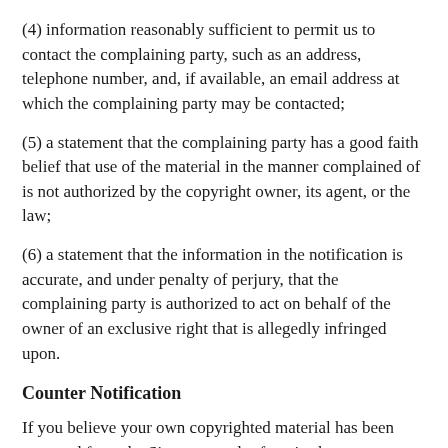(4) information reasonably sufficient to permit us to contact the complaining party, such as an address, telephone number, and, if available, an email address at which the complaining party may be contacted;
(5) a statement that the complaining party has a good faith belief that use of the material in the manner complained of is not authorized by the copyright owner, its agent, or the law;
(6) a statement that the information in the notification is accurate, and under penalty of perjury, that the complaining party is authorized to act on behalf of the owner of an exclusive right that is allegedly infringed upon.
Counter Notification
If you believe your own copyrighted material has been removed from the Site as a result of a mistake or misidentification, you may submit a written counter notification to [us/our Designated Copyright Agent] using the contact information provided below (a “Counter Notification”).